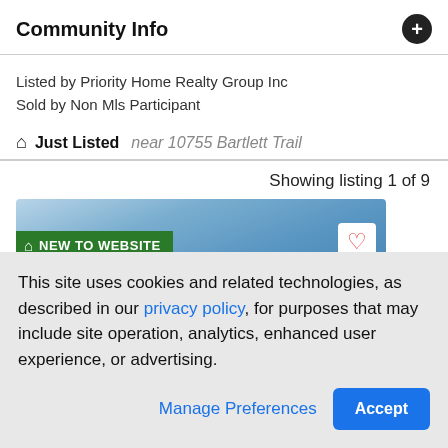Community Info
Listed by Priority Home Realty Group Inc
Sold by Non Mls Participant
Just Listed near 10755 Bartlett Trail
Showing listing 1 of 9
[Figure (screenshot): Property listing thumbnail with sky background, 'NEW TO WEBSITE' green badge, and heart/favorite icon]
This site uses cookies and related technologies, as described in our privacy policy, for purposes that may include site operation, analytics, enhanced user experience, or advertising.
Manage Preferences  Accept